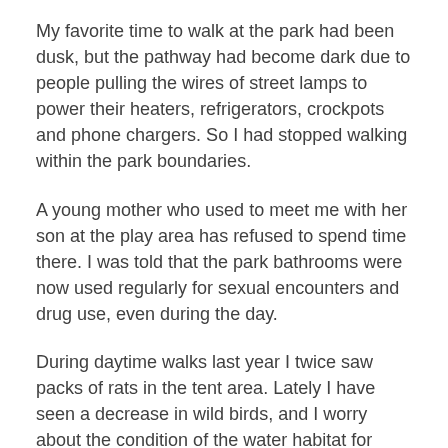My favorite time to walk at the park had been dusk, but the pathway had become dark due to people pulling the wires of street lamps to power their heaters, refrigerators, crockpots and phone chargers. So I had stopped walking within the park boundaries.
A young mother who used to meet me with her son at the play area has refused to spend time there. I was told that the park bathrooms were now used regularly for sexual encounters and drug use, even during the day.
During daytime walks last year I twice saw packs of rats in the tent area. Lately I have seen a decrease in wild birds, and I worry about the condition of the water habitat for frogs, turtles, fish, and waterfowl.
SKYROCKETING HOUSING COSTS IN LA
There are at least 40,000 homeless people currently in